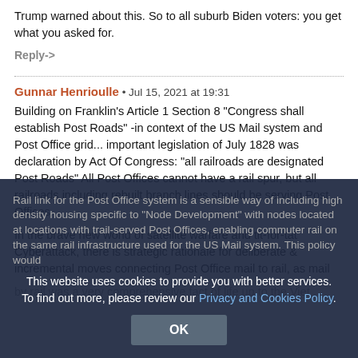Trump warned about this. So to all suburb Biden voters: you get what you asked for.
Reply->
Gunnar Henrioulle • Jul 15, 2021 at 19:31
Building on Franklin's Article 1 Section 8 "Congress shall establish Post Roads" -in context of the US Mail system and Post Office grid... important legislation of July 1828 was declaration by Act Of Congress: "all railroads are designated Post Roads" All Post Offices cannot have a rail spur, but all railroads including rebuilt branch lines should be serving Post Offices.
In the brave new world of satellite warfare and tit-for-tat Cyberattack, there is strategic rationale for deliberate & incremental moves connecting Post Office mail to rail, as mail by rail was a very comprehensive fact of life up to the Viet
Rail link for the Post Office system is a sensible way of including high density housing specific to "Node Development" with nodes located at locations with trail-served Post Offices, enabling commuter rail on the same rail infrastructure used for the US Mail system. This policy would
This website uses cookies to provide you with better services. To find out more, please review our Privacy and Cookies Policy.
OK